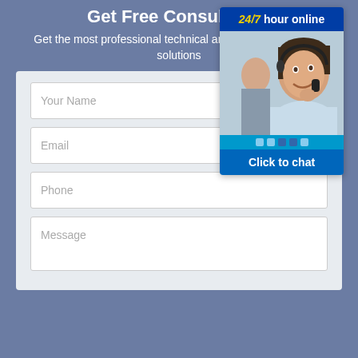Get Free Consultation
Get the most professional technical answers and quotation solutions
[Figure (illustration): Chat widget showing '24/7 hour online' header in dark blue with yellow/white text, a photo of a smiling woman with headset in a call center, dots in teal bar, and 'Click to chat' button in blue]
Your Name
Email
Phone
Message